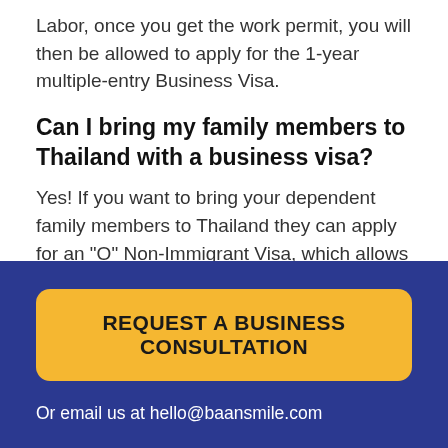Labor, once you get the work permit, you will then be allowed to apply for the 1-year multiple-entry Business Visa.
Can I bring my family members to Thailand with a business visa?
Yes! If you want to bring your dependent family members to Thailand they can apply for an "O" Non-Immigrant Visa, which allows them to stay in Thailand for up to one year with you.
REQUEST A BUSINESS CONSULTATION
Or email us at hello@baansmile.com